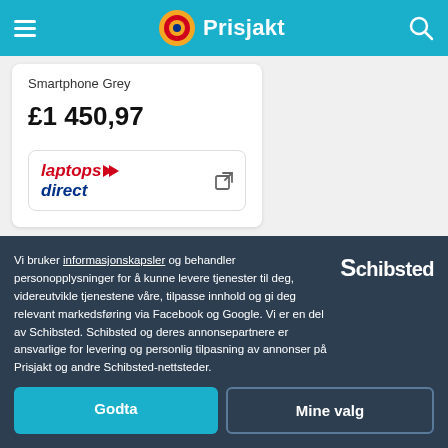Prisjakt
Smartphone Grey
£1 450,97
[Figure (logo): Laptops Direct logo with red arrow]
Vi bruker informasjonskapsler og behandler personopplysninger for å kunne levere tjenester til deg, videreutvikle tjenestene våre, tilpasse innhold og gi deg relevant markedsføring via Facebook og Google. Vi er en del av Schibsted. Schibsted og deres annonsepartnere er ansvarlige for levering og personlig tilpasning av annonser på Prisjakt og andre Schibsted-nettsteder.
[Figure (logo): Schibsted logo in white text]
Godta
Mine valg